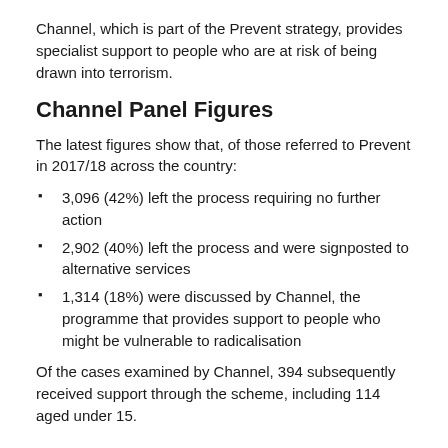Channel, which is part of the Prevent strategy, provides specialist support to people who are at risk of being drawn into terrorism.
Channel Panel Figures
The latest figures show that, of those referred to Prevent in 2017/18 across the country:
3,096 (42%) left the process requiring no further action
2,902 (40%) left the process and were signposted to alternative services
1,314 (18%) were discussed by Channel, the programme that provides support to people who might be vulnerable to radicalisation
Of the cases examined by Channel, 394 subsequently received support through the scheme, including 114 aged under 15.